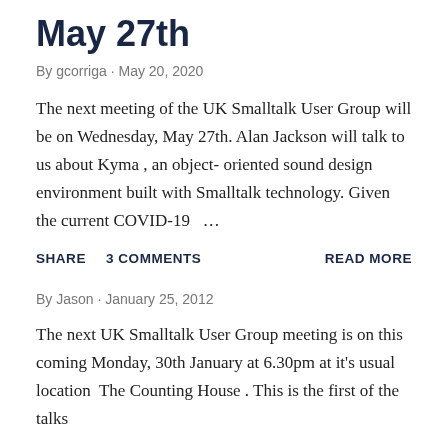May 27th
By gcorriga · May 20, 2020
The next meeting of the UK Smalltalk User Group will be on Wednesday, May 27th. Alan Jackson will talk to us about Kyma , an object- oriented sound design environment built with Smalltalk technology. Given the current COVID-19 …
SHARE   3 COMMENTS   READ MORE
By Jason · January 25, 2012
The next UK Smalltalk User Group meeting is on this coming Monday, 30th January at 6.30pm at it's usual location  The Counting House . This is the first of the talks